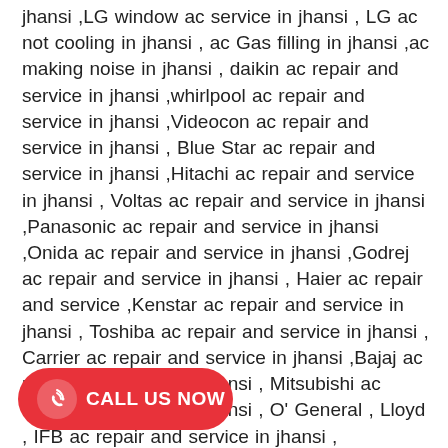jhansi ,LG window ac service in jhansi , LG ac not cooling in jhansi , ac Gas filling in jhansi ,ac making noise in jhansi , daikin ac repair and service in jhansi ,whirlpool ac repair and service in jhansi ,Videocon ac repair and service in jhansi , Blue Star ac repair and service in jhansi ,Hitachi ac repair and service in jhansi , Voltas ac repair and service in jhansi ,Panasonic ac repair and service in jhansi ,Onida ac repair and service in jhansi ,Godrej ac repair and service in jhansi , Haier ac repair and service ,Kenstar ac repair and service in jhansi , Toshiba ac repair and service in jhansi , Carrier ac repair and service in jhansi ,Bajaj ac repair and service in jhansi , Mitsubishi ac repair and service in jhansi , O' General , Lloyd , IFB ac repair and service in jhansi , Hyundaiac repair and service in jhansi , Kelvinator ac repair and service in jhansi ,Sansui ac repair and service in jhansi ,Mitashi ac repair and service in jhansi ,Electrolux ac repair and service in jhansi , Sharp ac repair and service in jhansi , LG ac repair and service in jhansi , Bosch ac repair and service in jhansi , Daikin ac repair and service in jhansi , Polar ac repair and service in jhansi , Philips ac
[Figure (infographic): Red rounded rectangle call-to-action button with a phone/wifi icon on the left and white bold text 'CALL US NOW']